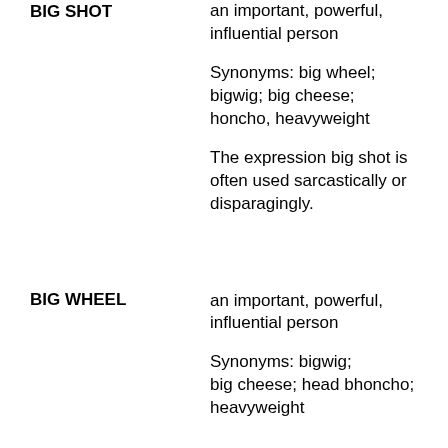BIG SHOT
an important, powerful, influential person
Synonyms: big wheel; bigwig; big cheese; head honcho, heavyweight
The expression big shot is often used sarcastically or disparagingly.
BIG WHEEL
an important, powerful, influential person
Synonyms: bigwig; big cheese; head honcho; heavyweight